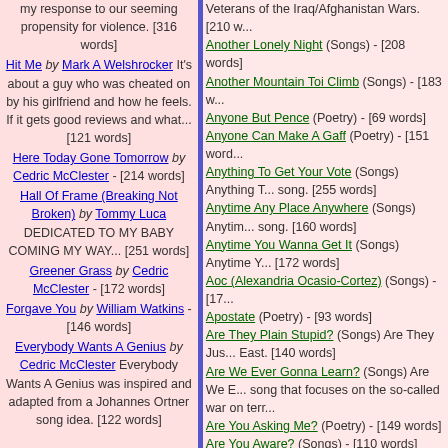my response to our seeming propensity for violence. [316 words]
Hit Me by Mark A Welshrocker It's about a guy who was cheated on by his girlfriend and how he feels. If it gets good reviews and what... [121 words]
Here Today Gone Tomorrow by Cedric McClester - [214 words]
Hall Of Frame (Breaking Not Broken) by Tommy Luca DEDICATED TO MY BABY COMING MY WAY... [251 words]
Greener Grass by Cedric McClester - [172 words]
Forgave You by William Watkins - [146 words]
Everybody Wants A Genius by Cedric McClester Everybody Wants A Genius was inspired and adapted from a Johannes Ortner song idea. [122 words]
Veterans of the Iraq/Afghanistan Wars. [210 words]
Another Lonely Night (Songs) - [208 words]
Another Mountain Toi Climb (Songs) - [183 words]
Anyone But Pence (Poetry) - [69 words]
Anyone Can Make A Gaff (Poetry) - [151 words]
Anything To Get Your Vote (Songs) Anything T... song. [255 words]
Anytime Any Place Anywhere (Songs) Anytim... song. [160 words]
Anytime You Wanna Get It (Songs) Anytime Y... [172 words]
Aoc (Alexandria Ocasio-Cortez) (Songs) - [17...
Apostate (Poetry) - [93 words]
Are They Plain Stupid? (Songs) Are They Jus... East. [140 words]
Are We Ever Gonna Learn? (Songs) Are We E... song that focuses on the so-called war on terr...
Are You Asking Me? (Poetry) - [149 words]
Are You Aware? (Songs) - [110 words]
Are You Gonna Miss Me? (Songs) - [211 words]
Are You Listening To Me? (Songs) Are You Lis... Bob Dylan. [258 words]
Are You Still Mine? (Songs) This song was wr... comeback in mind. It should have an updated...
Are You Woke? (Songs) - [101 words]
As A General Rule (Songs) - [211 words]
As Darkness Draws Ever Near (Poetry) - [71 words]